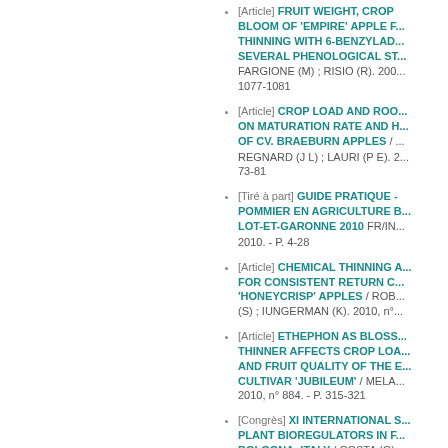[Article] FRUIT WEIGHT, CROP LOAD AND RETURN BLOOM OF 'EMPIRE' APPLE FOLLOWING THINNING WITH 6-BENZYLADENINE AT SEVERAL PHENOLOGICAL STAGES / FARGIONE (M) ; RISIO (R). 200... 1077-1081
[Article] CROP LOAD AND ROO... ON MATURATION RATE AND H... OF CV. BRAEBURN APPLES / ... REGNARD (J L) ; LAURI (P E). 2... 73-81
[Tiré à part] GUIDE PRATIQUE - POMMIER EN AGRICULTURE B... LOT-ET-GARONNE 2010 FR/IN... 2010. - P. 4-28
[Article] CHEMICAL THINNING A... FOR CONSISTENT RETURN C... 'HONEYCRISP' APPLES / ROB... (S) ; IUNGERMAN (K). 2010, n°...
[Article] ETHEPHON AS BLOSS... THINNER AFFECTS CROP LOA... AND FRUIT QUALITY OF THE E... CULTIVAR 'JUBILEUM' / MELA... 2010, n° 884. - P. 315-321
[Congrès] XI INTERNATIONAL S... PLANT BIOREGULATORS IN F... BOLOGNA, ITALY / COSTA (G).